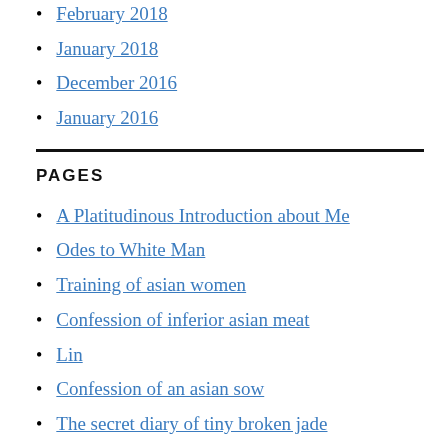February 2018
January 2018
December 2016
January 2016
PAGES
A Platitudinous Introduction about Me
Odes to White Man
Training of asian women
Confession of inferior asian meat
Lin
Confession of an asian sow
The secret diary of tiny broken jade
The adventures of Professor Mr. White in Asia